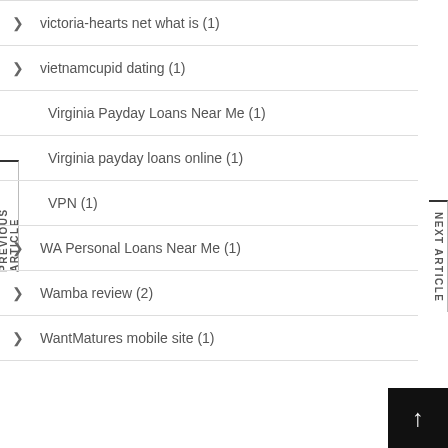victoria-hearts net what is (1)
vietnamcupid dating (1)
Virginia Payday Loans Near Me (1)
Virginia payday loans online (1)
VPN (1)
WA Personal Loans Near Me (1)
Wamba review (2)
WantMatures mobile site (1)